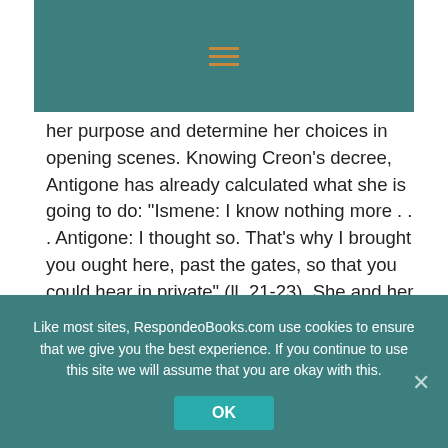[Figure (other): Teal header bar with orange hamburger menu icon]
her purpose and determine her choices in opening scenes. Knowing Creon’s decree, Antigone has already calculated what she is going to do: “Ismene: I know nothing more . . . Antigone: I thought so. That’s why I brought you ought here, past the gates, so that you could hear in private” (ll. 21-23). She and her sister are to “share the work” of “lift[ing] up [Polynices’] body with these bare hands and lower[ing] it” (ll. 50-53).
After she brings her sister into the plans, the two of
Like most sites, RespondeoBooks.com use cookies to ensure that we give you the best experience. If you continue to use this site we will assume that you are okay with this.
OK